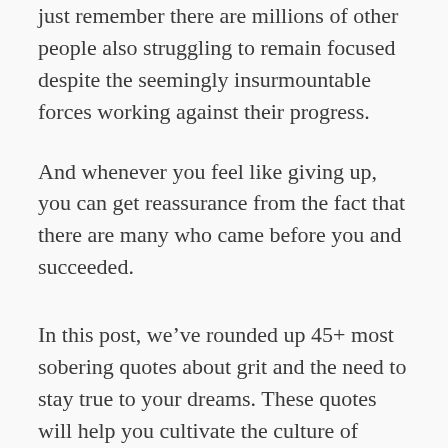just remember there are millions of other people also struggling to remain focused despite the seemingly insurmountable forces working against their progress.
And whenever you feel like giving up, you can get reassurance from the fact that there are many who came before you and succeeded.
In this post, we’ve rounded up 45+ most sobering quotes about grit and the need to stay true to your dreams. These quotes will help you cultivate the culture of perseverance and tenacity. They’ll enable you to see the brighter